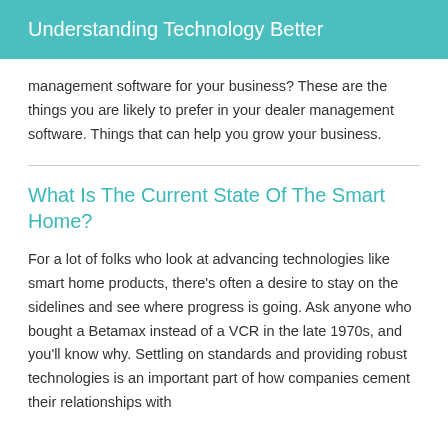Understanding Technology Better
management software for your business? These are the things you are likely to prefer in your dealer management software. Things that can help you grow your business.
What Is The Current State Of The Smart Home?
For a lot of folks who look at advancing technologies like smart home products, there’s often a desire to stay on the sidelines and see where progress is going. Ask anyone who bought a Betamax instead of a VCR in the late 1970s, and you’ll know why. Settling on standards and providing robust technologies is an important part of how companies cement their relationships with